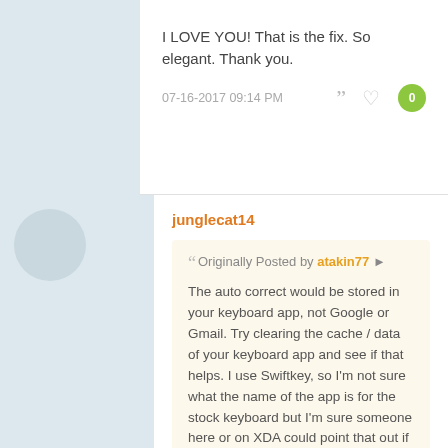I LOVE YOU! That is the fix. So elegant. Thank you.
07-16-2017 09:14 PM
junglecat14
Originally Posted by atakin77
The auto correct would be stored in your keyboard app, not Google or Gmail. Try clearing the cache / data of your keyboard app and see if that helps. I use Swiftkey, so I'm not sure what the name of the app is for the stock keyboard but I'm sure someone here or on XDA could point that out if you need it.
This worked. Deleting contacts from Gmail contact list did not.